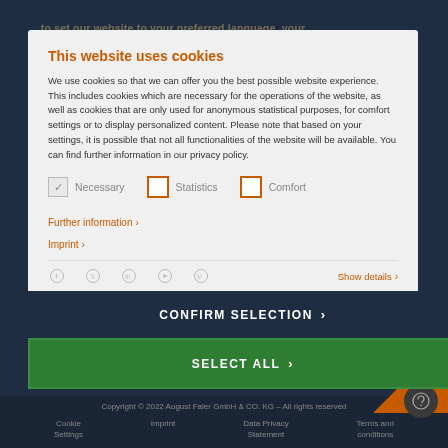This website uses cookies
We use cookies so that we can offer you the best possible website experience. This includes cookies which are necessary for the operations of the website, as well as cookies that are only used for anonymous statistical purposes, for comfort settings or to display personalized content. Please note that based on your settings, it is possible that not all functionalities of the website will be available. You can find further information in our privacy policy.
Necessary  Statistics  Comfort
Further information >
Imprint >
Show details >
CONFIRM SELECTION >
SELECT ALL >
Copyright © 2022 August Faler GmbH & CO. KG – All rights reserved
Cookie Settings    Imprint    Data Privacy Statement    Terms and conditions